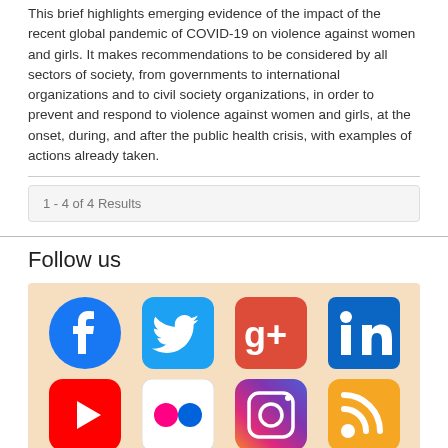This brief highlights emerging evidence of the impact of the recent global pandemic of COVID-19 on violence against women and girls. It makes recommendations to be considered by all sectors of society, from governments to international organizations and to civil society organizations, in order to prevent and respond to violence against women and girls, at the onset, during, and after the public health crisis, with examples of actions already taken.
1 - 4 of 4 Results
Follow us
[Figure (infographic): Social media icons on a light orange background: Facebook, Twitter, Google+, LinkedIn (top row); YouTube, Flickr, Instagram, RSS (bottom row)]